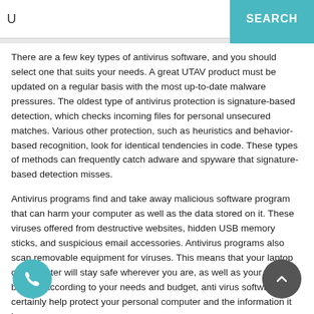U  SEARCH
There are a few key types of antivirus software, and you should select one that suits your needs. A great UTAV product must be updated on a regular basis with the most up-to-date malware pressures. The oldest type of antivirus protection is signature-based detection, which checks incoming files for personal unsecured matches. Various other protection, such as heuristics and behavior-based recognition, look for identical tendencies in code. These types of methods can frequently catch adware and spyware that signature-based detection misses.
Antivirus programs find and take away malicious software program that can harm your computer as well as the data stored on it. These viruses offered from destructive websites, hidden USB memory sticks, and suspicious email accessories. Antivirus programs also scan removable equipment for viruses. This means that your laptop or computer will stay safe wherever you are, as well as your data will be safe. According to your needs and budget, anti virus software can certainly help protect your personal computer and the information it keeps.